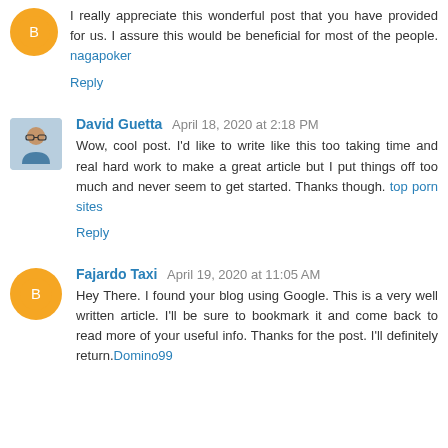I really appreciate this wonderful post that you have provided for us. I assure this would be beneficial for most of the people. nagapoker
Reply
David Guetta April 18, 2020 at 2:18 PM
Wow, cool post. I'd like to write like this too taking time and real hard work to make a great article but I put things off too much and never seem to get started. Thanks though. top porn sites
Reply
Fajardo Taxi April 19, 2020 at 11:05 AM
Hey There. I found your blog using Google. This is a very well written article. I'll be sure to bookmark it and come back to read more of your useful info. Thanks for the post. I'll definitely return.Domino99